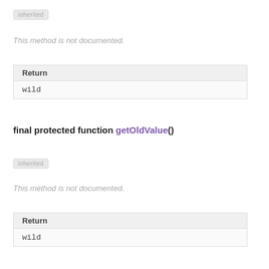[Figure (other): Inherited badge label]
This method is not documented.
| Return |
| --- |
| wild |
final protected function getOldValue()
[Figure (other): Inherited badge label]
This method is not documented.
| Return |
| --- |
| wild |